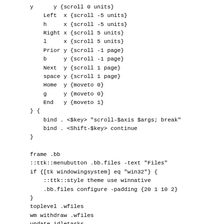y      y {scroll 0 units}
    Left  x {scroll -5 units}
    h     x {scroll -5 units}
    Right x {scroll 5 units}
    l     x {scroll 5 units}
    Prior y {scroll -1 page}
    b     y {scroll -1 page}
    Next  y {scroll 1 page}
    space y {scroll 1 page}
    Home  y {moveto 0}
    g     y {moveto 0}
    End   y {moveto 1}
} {
    bind . <$key> "scroll-$axis $args; break"
    bind . <Shift-$key> continue
}

frame .bb
::ttk::menubutton .bb.files -text "Files"
if {[tk windowingsystem] eq "win32"} {
    ::ttk::style theme use winnative
    .bb.files configure -padding {20 1 10 2}
}
toplevel .wfiles
wm withdraw .wfiles
update idletasks
wm transient .wfiles .
wm overrideredirect .wfiles 1
listbox .wfiles.lb -width 0 -height $CFG(LB_HE